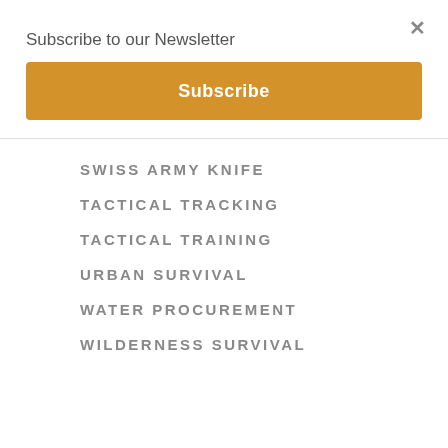Subscribe to our Newsletter
Subscribe
SWISS ARMY KNIFE
TACTICAL TRACKING
TACTICAL TRAINING
URBAN SURVIVAL
WATER PROCUREMENT
WILDERNESS SURVIVAL